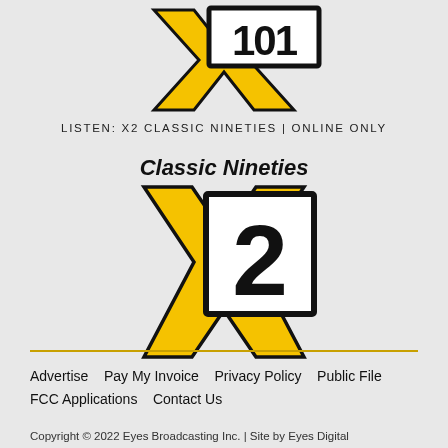[Figure (logo): X101 radio station logo — large yellow X with black border overlapping a black rectangular box with white text '101']
LISTEN: X2 CLASSIC NINETIES | ONLINE ONLY
Classic Nineties
[Figure (logo): X2 Classic Nineties logo — large yellow X with black border overlapping a white square with black border containing the number '2' in large black text]
Advertise   Pay My Invoice   Privacy Policy   Public File   FCC Applications   Contact Us
Copyright © 2022 Eyes Broadcasting Inc. | Site by Eyes Digital